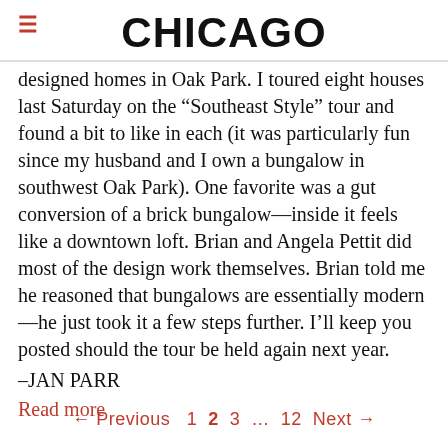CHICAGO
designed homes in Oak Park. I toured eight houses last Saturday on the “Southeast Style” tour and found a bit to like in each (it was particularly fun since my husband and I own a bungalow in southwest Oak Park). One favorite was a gut conversion of a brick bungalow—inside it feels like a downtown loft. Brian and Angela Pettit did most of the design work themselves. Brian told me he reasoned that bungalows are essentially modern—he just took it a few steps further. I’ll keep you posted should the tour be held again next year.
–JAN PARR
Read more
← Previous  1  2  3  …  12  Next →